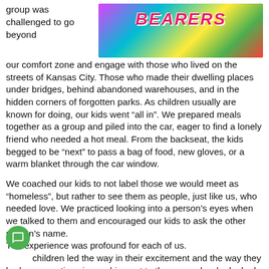group was challenged to go beyond
[Figure (photo): Colorful image with the word BEARERS in pink/red bold italic text on a vibrant multicolored background]
our comfort zone and engage with those who lived on the streets of Kansas City. Those who made their dwelling places under bridges, behind abandoned warehouses, and in the hidden corners of forgotten parks. As children usually are known for doing, our kids went “all in”. We prepared meals together as a group and piled into the car, eager to find a lonely friend who needed a hot meal. From the backseat, the kids begged to be “next” to pass a bag of food, new gloves, or a warm blanket through the car window.
We coached our kids to not label those we would meet as “homeless”, but rather to see them as people, just like us, who needed love. We practiced looking into a person’s eyes when we talked to them and encouraged our kids to ask the other person’s name.
The experience was profound for each of us.
The children led the way in their excitement and the way they had conversations in reaching out to these people who looked and lived nothing like them.